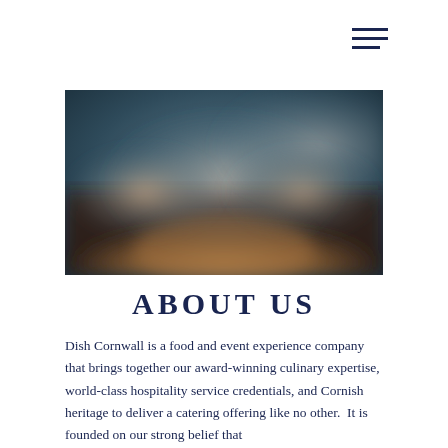[Figure (photo): A blurred photograph showing food or hands working with food on a surface, with dark teal background tones and warm golden/brown tones in the lower portion.]
ABOUT US
Dish Cornwall is a food and event experience company that brings together our award-winning culinary expertise, world-class hospitality service credentials, and Cornish heritage to deliver a catering offering like no other.  It is founded on our strong belief that